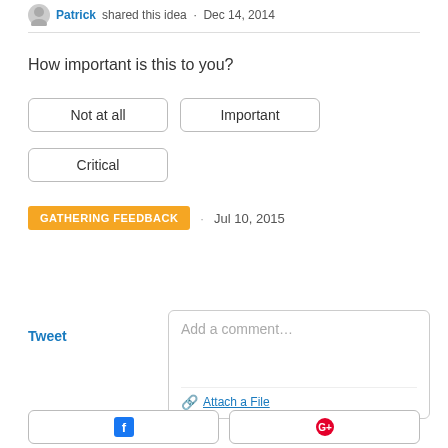Patrick shared this idea · Dec 14, 2014
How important is this to you?
Not at all
Important
Critical
GATHERING FEEDBACK · Jul 10, 2015
Tweet
Add a comment…
Attach a File